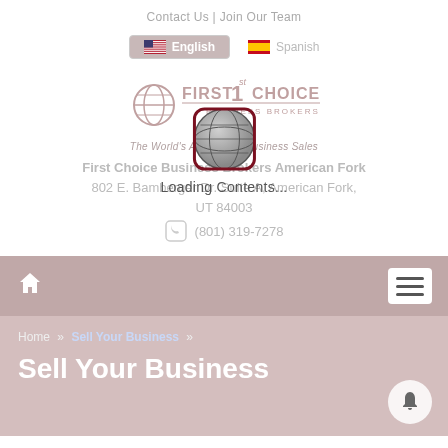Contact Us | Join Our Team
[Figure (screenshot): Language selector with English (active, highlighted) and Spanish options with flag icons]
[Figure (logo): First Choice Business Brokers logo with tagline 'The World's Authority in Business Sales']
First Choice Business Brokers American Fork
802 E. Bamberger Dr. Suite A, American Fork, UT 84003
(801) 319-7278
[Figure (screenshot): Loading overlay with globe icon and 'Loading Contents...' text]
[Figure (screenshot): Navigation bar with home icon on left and hamburger menu icon on right]
Home » Sell Your Business »
Sell Your Business